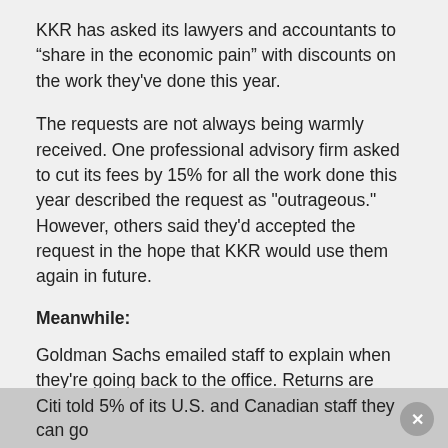KKR has asked its lawyers and accountants to “share in the economic pain” with discounts on the work they've done this year.
The requests are not always being warmly received. One professional advisory firm asked to cut its fees by 15% for all the work done this year described the request as "outrageous." However, others said they'd accepted the request in the hope that KKR would use them again in future.
Meanwhile:
Goldman Sachs emailed staff to explain when they're going back to the office. Returns are entirely voluntary. London starts June 15. New York, Jersey City, Dallas and Salt Lake City begin returning Monday, June 22. Bangalore is being reviewed at the end of June. (Goldman Sachs)
Citi told 5% of its U.S. and Canadian staff they can go